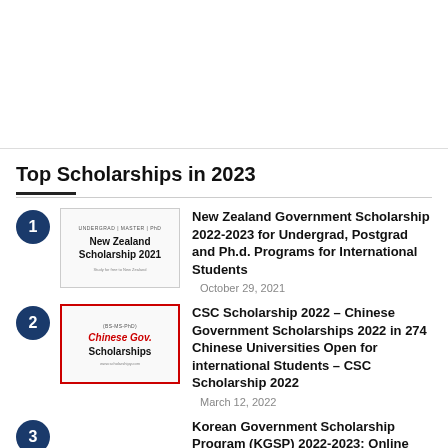[Figure (other): Advertisement area at top of page]
Top Scholarships in 2023
New Zealand Government Scholarship 2022-2023 for Undergrad, Postgrad and Ph.d. Programs for International Students — October 29, 2021
CSC Scholarship 2022 – Chinese Government Scholarships 2022 in 274 Chinese Universities Open for international Students – CSC Scholarship 2022 — March 12, 2022
Korean Government Scholarship Program (KGSP) 2022-2023: Online Applications